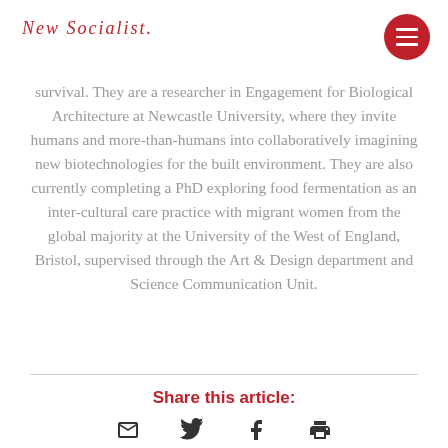New Socialist.
survival. They are a researcher in Engagement for Biological Architecture at Newcastle University, where they invite humans and more-than-humans into collaboratively imagining new biotechnologies for the built environment. They are also currently completing a PhD exploring food fermentation as an inter-cultural care practice with migrant women from the global majority at the University of the West of England, Bristol, supervised through the Art & Design department and Science Communication Unit.
Share this article: